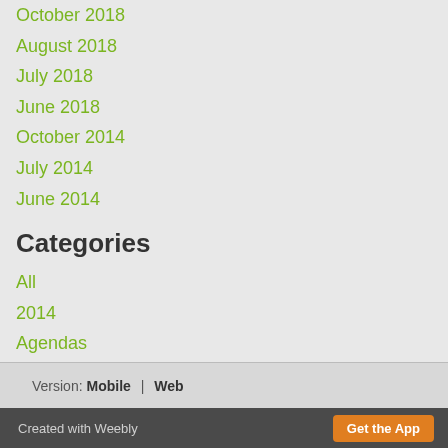October 2018
August 2018
July 2018
June 2018
October 2014
July 2014
June 2014
Categories
All
2014
Agendas
Minutes
RSS Feed
Version: Mobile | Web
Created with Weebly